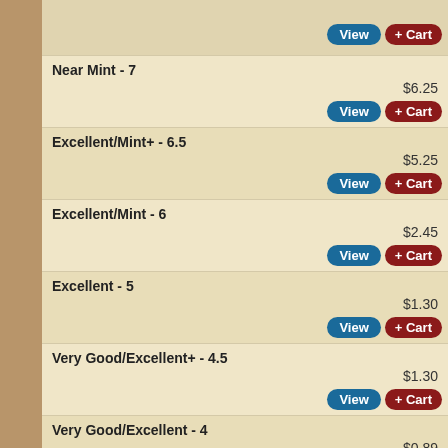Near Mint - 7
Excellent/Mint+ - 6.5
Excellent/Mint - 6
Excellent - 5
Very Good/Excellent+ - 4.5
Very Good/Excellent - 4
Very Good+ - 3.5
Very Good - 3